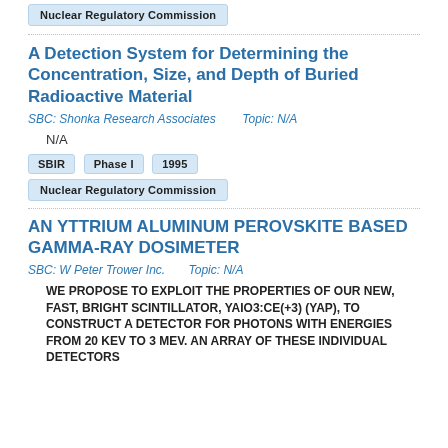Nuclear Regulatory Commission
A Detection System for Determining the Concentration, Size, and Depth of Buried Radioactive Material
SBC: Shonka Research Associates    Topic: N/A
N/A
SBIR   Phase I   1995
Nuclear Regulatory Commission
AN YTTRIUM ALUMINUM PEROVSKITE BASED GAMMA-RAY DOSIMETER
SBC: W Peter Trower Inc.    Topic: N/A
WE PROPOSE TO EXPLOIT THE PROPERTIES OF OUR NEW, FAST, BRIGHT SCINTILLATOR, YAIO3:CE(+3) (YAP), TO CONSTRUCT A DETECTOR FOR PHOTONS WITH ENERGIES FROM 20 KEV TO 3 MEV. AN ARRAY OF THESE INDIVIDUAL DETECTORS